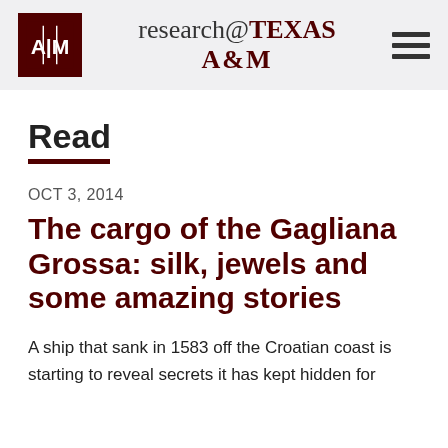research@TEXAS A&M
Read
OCT 3, 2014
The cargo of the Gagliana Grossa: silk, jewels and some amazing stories
A ship that sank in 1583 off the Croatian coast is starting to reveal secrets it has kept hidden for